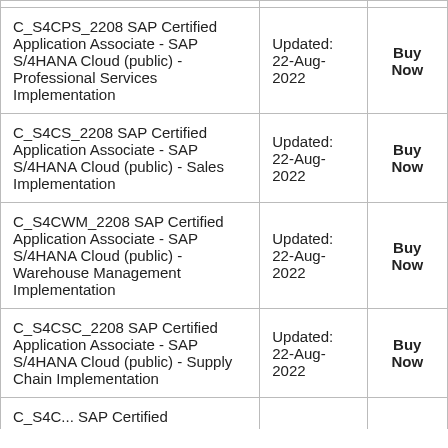| Course Name | Updated | Action |
| --- | --- | --- |
| C_S4CPS_2208 SAP Certified Application Associate - SAP S/4HANA Cloud (public) - Professional Services Implementation | Updated: 22-Aug-2022 | Buy Now |
| C_S4CS_2208 SAP Certified Application Associate - SAP S/4HANA Cloud (public) - Sales Implementation | Updated: 22-Aug-2022 | Buy Now |
| C_S4CWM_2208 SAP Certified Application Associate - SAP S/4HANA Cloud (public) - Warehouse Management Implementation | Updated: 22-Aug-2022 | Buy Now |
| C_S4CSC_2208 SAP Certified Application Associate - SAP S/4HANA Cloud (public) - Supply Chain Implementation | Updated: 22-Aug-2022 | Buy Now |
| C_S4C... SAP Certified... | ... | ... |